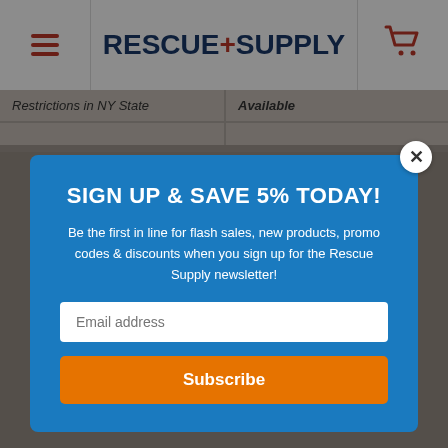RESCUE+SUPPLY
| Restrictions in NY State | Available |
| --- | --- |
|  |  |
[Figure (screenshot): Email signup modal popup with blue background. Title: 'SIGN UP & SAVE 5% TODAY!'. Body text about newsletter. Email input field and orange Subscribe button.]
-21%